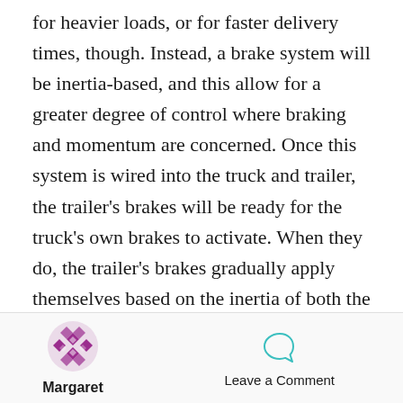for heavier loads, or for faster delivery times, though. Instead, a brake system will be inertia-based, and this allow for a greater degree of control where braking and momentum are concerned. Once this system is wired into the truck and trailer, the trailer's brakes will be ready for the truck's own brakes to activate. When they do, the trailer's brakes gradually apply themselves based on the inertia of both the truck and the trailer, making for smooth and easy stops. In fact, these brakes can adjust their settings if the trailer is on an inclined plane. This prevents the trailer from applying the
[Figure (logo): Purple decorative logo/icon with geometric diamond pattern]
Margaret
[Figure (illustration): Teal/mint chat bubble icon]
Leave a Comment